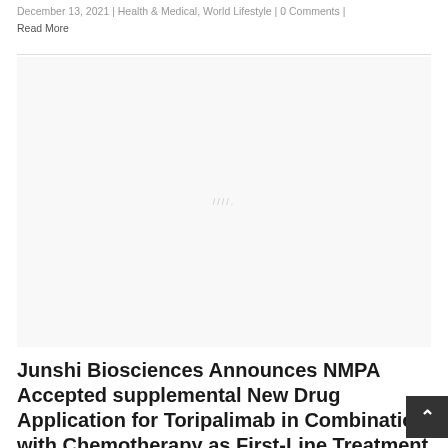December 13, 2021 | Health & Medical, World Lifestyle | 0 Comments | Read More
[Figure (photo): Large image placeholder area (white/light grey) with small watermark-style text in the center]
Junshi Biosciences Announces NMPA Accepted supplemental New Drug Application for Toripalimab in Combination with Chemotherapy as First-Line Treatment for...